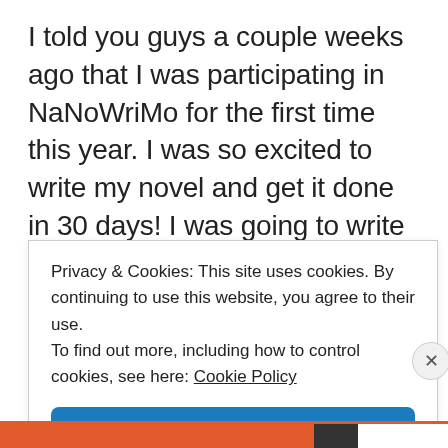I told you guys a couple weeks ago that I was participating in NaNoWriMo for the first time this year. I was so excited to write my novel and get it done in 30 days! I was going to write ALL the words plus more and I was so determined to do it! Welp, I've
Privacy & Cookies: This site uses cookies. By continuing to use this website, you agree to their use.
To find out more, including how to control cookies, see here: Cookie Policy
Close and accept